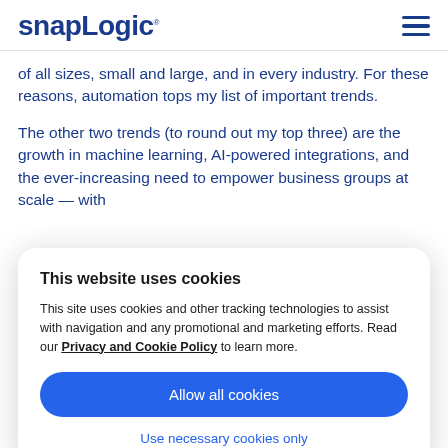[Figure (logo): SnapLogic logo with hamburger menu icon]
of all sizes, small and large, and in every industry. For these reasons, automation tops my list of important trends.
The other two trends (to round out my top three) are the growth in machine learning, AI-powered integrations, and the ever-increasing need to empower business groups at scale — with
This website uses cookies
This site uses cookies and other tracking technologies to assist with navigation and any promotional and marketing efforts. Read our Privacy and Cookie Policy to learn more.
Allow all cookies
Use necessary cookies only
quietly assisting and improving at every turn,